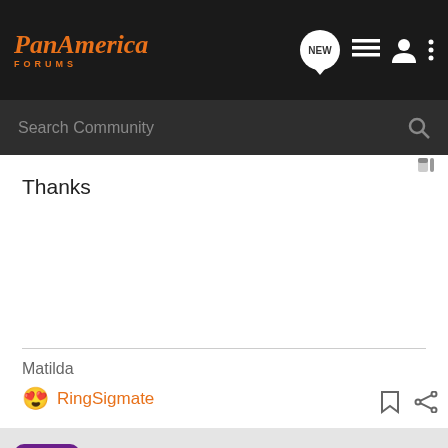PanAmerica FORUMS — Search Community
Thanks
Matilda
😍 RingSigmate
13. · Registered 🇺🇸 Joined Oct 2, 2021 · 3 Posts